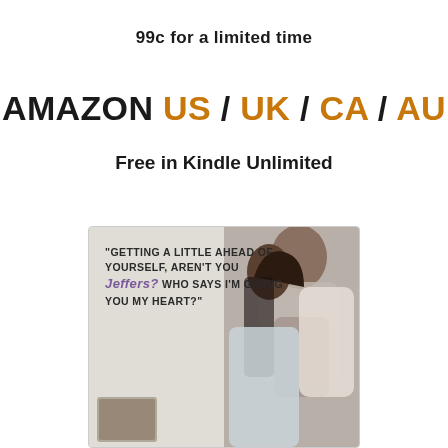99c for a limited time
AMAZON US / UK / CA / AU
Free in Kindle Unlimited
[Figure (photo): Book cover showing a romantic couple embracing, with a quote overlay: "Getting a little ahead of yourself, aren't you Jeffers? Who says I'm giving you my heart?"]